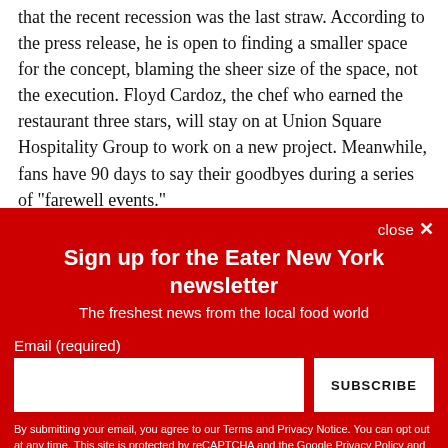that the recent recession was the last straw. According to the press release, he is open to finding a smaller space for the concept, blaming the sheer size of the space, not the execution. Floyd Cardoz, the chef who earned the restaurant three stars, will stay on at Union Square Hospitality Group to work on a new project. Meanwhile, fans have 90 days to say their goodbyes during a series of "farewell events."
close ✕
Sign up for the Eater New York newsletter
The freshest news from the local food world
Email (required)
SUBSCRIBE
By submitting your email, you agree to our Terms and Privacy Notice. You can opt out at any time. This site is protected by reCAPTCHA and the Google Privacy Policy and Terms of Service apply.